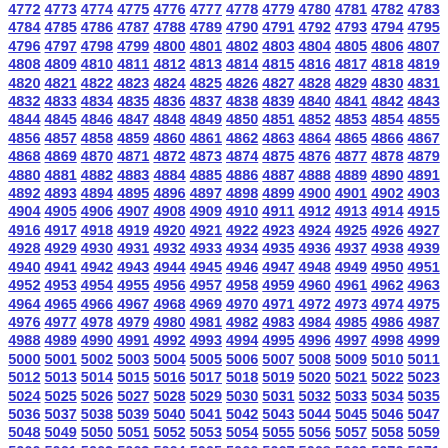4772 4773 4774 4775 4776 4777 4778 4779 4780 4781 4782 4783 4784 4785 4786 4787 4788 4789 4790 4791 4792 4793 4794 4795 4796 4797 4798 4799 4800 4801 4802 4803 4804 4805 4806 4807 4808 4809 4810 4811 4812 4813 4814 4815 4816 4817 4818 4819 4820 4821 4822 4823 4824 4825 4826 4827 4828 4829 4830 4831 4832 4833 4834 4835 4836 4837 4838 4839 4840 4841 4842 4843 4844 4845 4846 4847 4848 4849 4850 4851 4852 4853 4854 4855 4856 4857 4858 4859 4860 4861 4862 4863 4864 4865 4866 4867 4868 4869 4870 4871 4872 4873 4874 4875 4876 4877 4878 4879 4880 4881 4882 4883 4884 4885 4886 4887 4888 4889 4890 4891 4892 4893 4894 4895 4896 4897 4898 4899 4900 4901 4902 4903 4904 4905 4906 4907 4908 4909 4910 4911 4912 4913 4914 4915 4916 4917 4918 4919 4920 4921 4922 4923 4924 4925 4926 4927 4928 4929 4930 4931 4932 4933 4934 4935 4936 4937 4938 4939 4940 4941 4942 4943 4944 4945 4946 4947 4948 4949 4950 4951 4952 4953 4954 4955 4956 4957 4958 4959 4960 4961 4962 4963 4964 4965 4966 4967 4968 4969 4970 4971 4972 4973 4974 4975 4976 4977 4978 4979 4980 4981 4982 4983 4984 4985 4986 4987 4988 4989 4990 4991 4992 4993 4994 4995 4996 4997 4998 4999 5000 5001 5002 5003 5004 5005 5006 5007 5008 5009 5010 5011 5012 5013 5014 5015 5016 5017 5018 5019 5020 5021 5022 5023 5024 5025 5026 5027 5028 5029 5030 5031 5032 5033 5034 5035 5036 5037 5038 5039 5040 5041 5042 5043 5044 5045 5046 5047 5048 5049 5050 5051 5052 5053 5054 5055 5056 5057 5058 5059 5060 5061 5062 5063 5064 5065 5066 5067 5068 5069 5070 5071